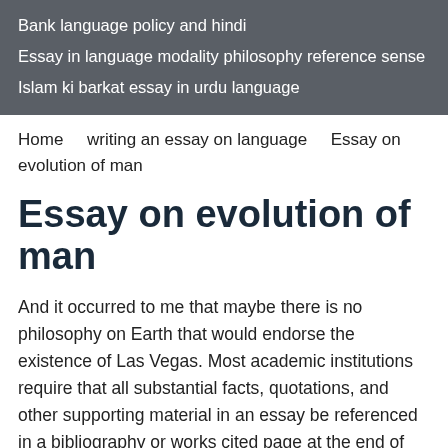Bank language policy and hindi
Essay in language modality philosophy reference sense
Islam ki barkat essay in urdu language
Home    writing an essay on language    Essay on evolution of man
Essay on evolution of man
And it occurred to me that maybe there is no philosophy on Earth that would endorse the existence of Las Vegas. Most academic institutions require that all substantial facts, quotations, and other supporting material in an essay be referenced in a bibliography or works cited page at the end of the text.